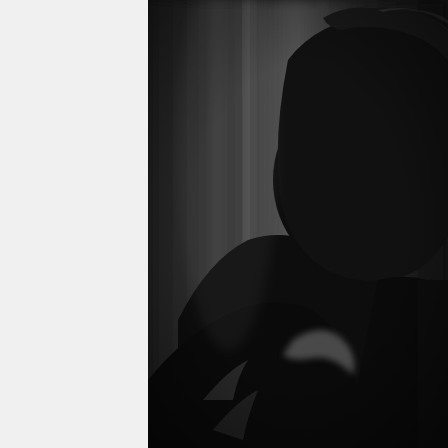[Figure (photo): Black and white photograph showing the silhouette/profile of a person from behind and side, with dark curly hair, against a blurred dark background with vertical curtain-like drapes. The left portion of the page is a white/light gray strip.]